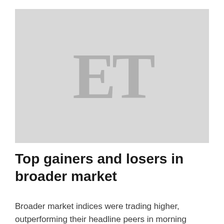[Figure (logo): ET (Economic Times) logo placeholder image — large grey 'ET' serif letters on a light grey background]
Top gainers and losers in broader market
Broader market indices were trading higher, outperforming their headline peers in morning